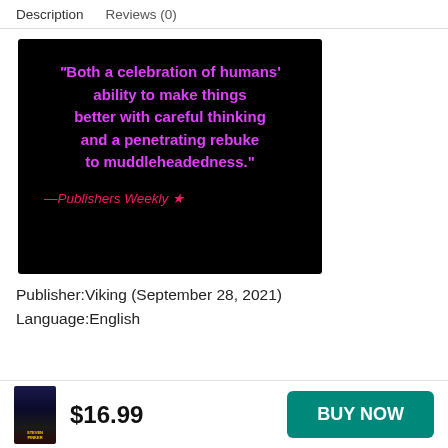Description   Reviews (0)
[Figure (illustration): Black background promotional quote card with gradient border (yellow-top, magenta-bottom, blue-left). Text in bold magenta: “Both a celebration of humans’ ability to make things better with careful thinking and a penetrating rebuke to muddleheadedness.” Attribution in italic pink-red: —Publishers Weekly★]
Publisher:Viking (September 28, 2021)
Language:English
$16.99
BUY NOW